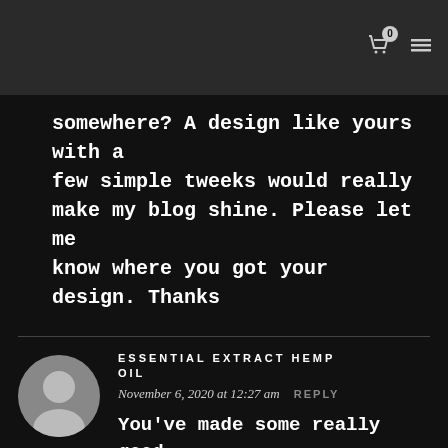0 [cart icon] [menu icon]
somewhere? A design like yours with a few simple tweeks would really make my blog shine. Please let me know where you got your design. Thanks
ESSENTIAL EXTRACT HEMP OIL
November 6, 2020 at 12:27 am REPLY
You've made some really good points there. I checked on the web for more information about the issue and found most individuals will go